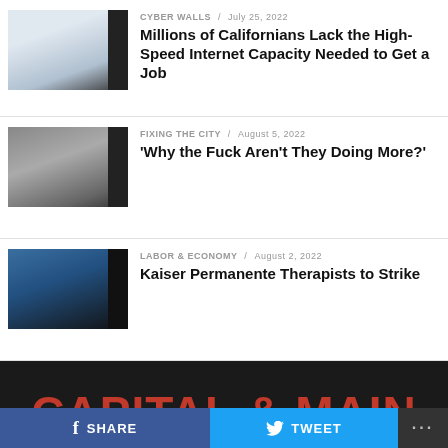[Figure (photo): Thumbnail of stacked papers/documents]
CYBER WALLS / July 25, 2022
Millions of Californians Lack the High-Speed Internet Capacity Needed to Get a Job
[Figure (photo): Thumbnail of crowd at a press conference or rally]
FIXING THE CITY / August 5, 2022
'Why the Fuck Aren't They Doing More?'
[Figure (photo): Thumbnail of Kaiser Permanente building/sign]
LABOR & ECONOMY / August 2, 2022
Kaiser Permanente Therapists to Strike
[Figure (logo): Capital & Main logo - INVESTIGATING MONEY, POWER AND SOCIETY]
SHARE   TWEET   ...